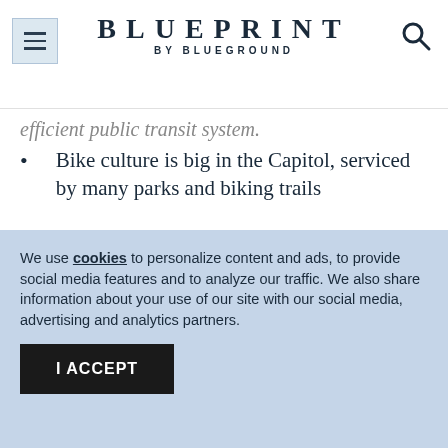BLUEPRINT BY BLUEGROUND
efficient public transit system.
Bike culture is big in the Capitol, serviced by many parks and biking trails
On the busy escalators in the metro, remember this simple rule: pass on left,
We use cookies to personalize content and ads, to provide social media features and to analyze our traffic. We also share information about your use of our site with our social media, advertising and analytics partners.
I ACCEPT